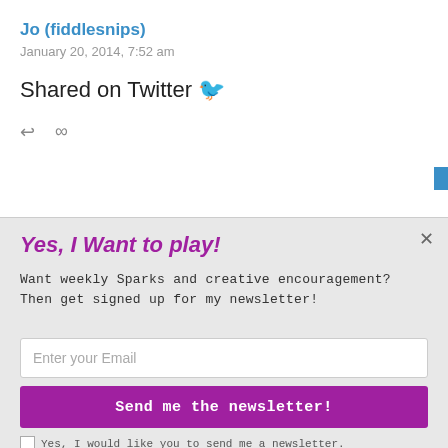Jo (fiddlesnips)
January 20, 2014, 7:52 am
Shared on Twitter 🐦
↩   ∞
Jo (fiddlesnips)
January 20, 2014, 7:56 a
[Figure (logo): POWERED BY SUMO badge logo]
Yes, I Want to play!
Want weekly Sparks and creative encouragement? Then get signed up for my newsletter!
Enter your Email
Send me the newsletter!
Yes, I would like you to send me a newsletter.